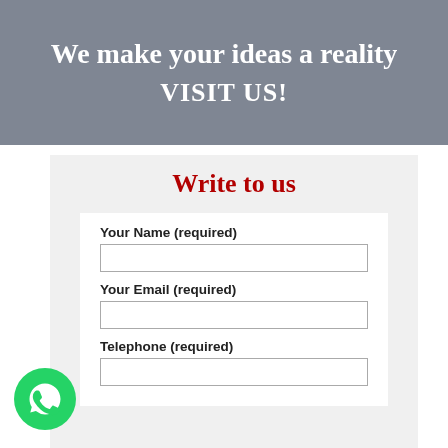We make your ideas a reality
VISIT US!
Write to us
Your Name (required)
Your Email (required)
Telephone (required)
[Figure (logo): Green WhatsApp logo button, circular, bottom left corner]